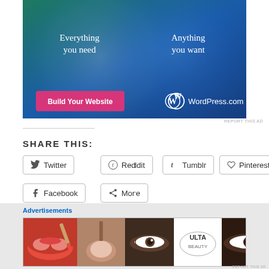[Figure (illustration): WordPress.com advertisement banner with teal and blue gradient background, two overlapping circles, text 'Everything you need' and 'Anything you want', a pink 'Build Your Website' button, and WordPress.com logo]
REPORT THIS AD
SHARE THIS:
Twitter
Reddit
Tumblr
Pinterest
Facebook
More
Loading...
Advertisements
[Figure (screenshot): Ulta Beauty advertisement strip showing makeup/cosmetics photos with lips, brushes, eyes, Ulta logo, and 'SHOP NOW' text]